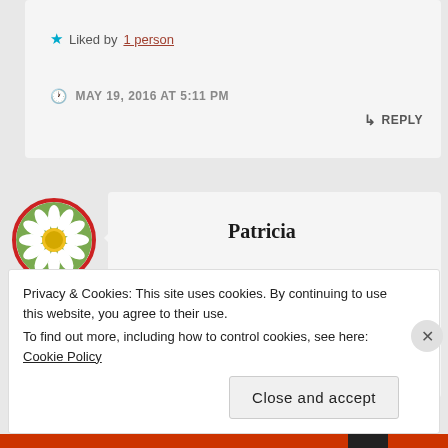★ Liked by 1 person
MAY 19, 2016 AT 5:11 PM
↳ REPLY
[Figure (photo): Circular avatar with daisy flower photo, red border]
Patricia
Good to know.🤗
Privacy & Cookies: This site uses cookies. By continuing to use this website, you agree to their use.
To find out more, including how to control cookies, see here: Cookie Policy
Close and accept